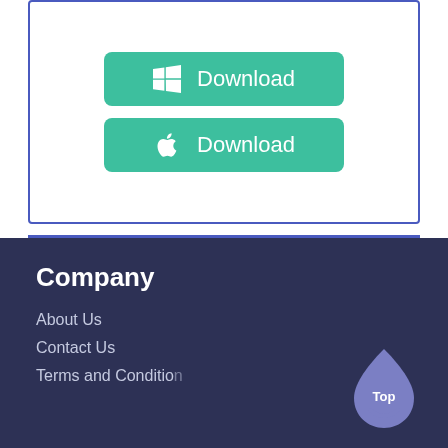[Figure (screenshot): Two teal/green download buttons inside a blue-bordered card. Top button has a Windows logo icon and text 'Download'. Bottom button has an Apple logo icon and text 'Download'. A blue horizontal divider line sits below the card.]
Company
About Us
Contact Us
Terms and Condition
[Figure (illustration): A purple microphone / drop icon with 'Top' text inside, used as a back-to-top button.]